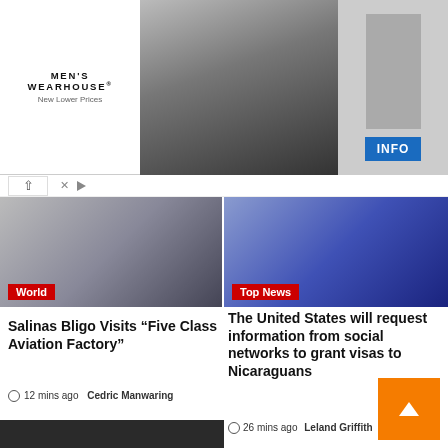[Figure (screenshot): Men's Wearhouse advertisement banner with couple in formal wear and man in suit, INFO button]
[Figure (photo): World news thumbnail showing person with hand raised near screen, red 'World' tag]
[Figure (photo): Top News thumbnail showing passport stamps, red 'Top News' tag]
Salinas Bligo Visits “Five Class Aviation Factory”
12 mins ago  Cedric Manwaring
The United States will request information from social networks to grant visas to Nicaraguans
26 mins ago  Leland Griffith
[Figure (photo): Dark/black image at bottom left]